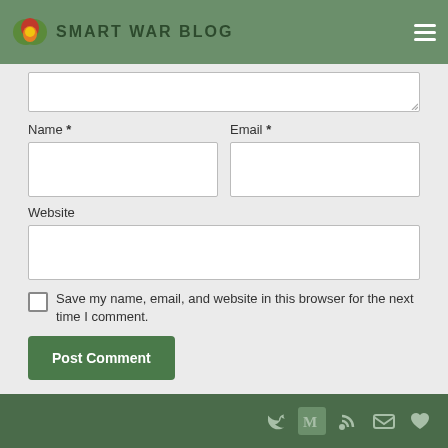Smart War Blog
Name *
Email *
Website
Save my name, email, and website in this browser for the next time I comment.
Post Comment
Social icons: Twitter, Medium, RSS, Email, Heart